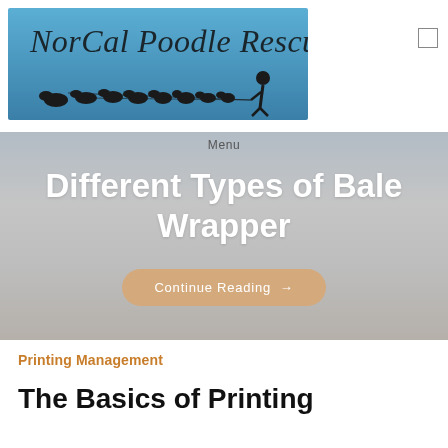[Figure (logo): NorCal Poodle Rescue logo: blue background with silhouette of person walking many dogs on leashes, script text 'NorCal Poodle Rescue']
Menu
Different Types of Bale Wrapper
Continue Reading →
Printing Management
The Basics of Printing